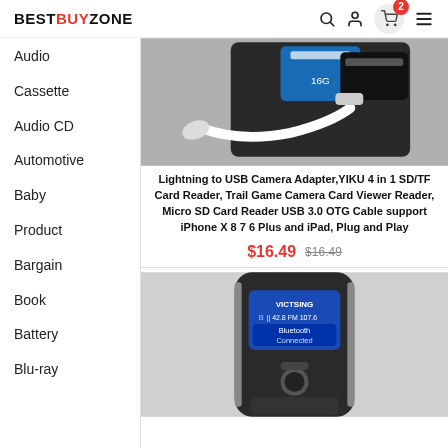BESTBUYZONE
Audio
Cassette
Audio CD
Automotive
Baby
Product
Bargain
Book
Battery
Blu-ray
[Figure (photo): Product image: Lightning to USB Camera Adapter with SD/TF cards and cable]
Lightning to USB Camera Adapter,YIKU 4 in 1 SD/TF Card Reader, Trail Game Camera Card Viewer Reader, Micro SD Card Reader USB 3.0 OTG Cable support iPhone X 8 7 6 Plus and iPad, Plug and Play
$16.49  $16.49
[Figure (photo): Product image: VicTsing Bluetooth FM transmitter device with LCD display showing 'Bluetooth Connected']